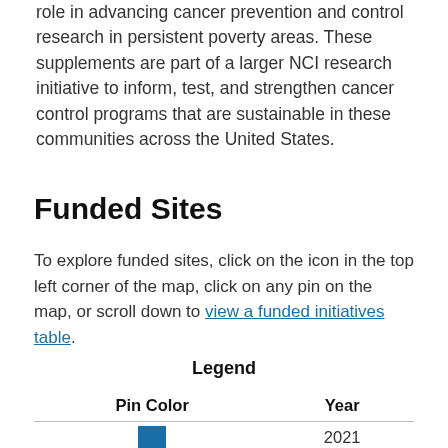role in advancing cancer prevention and control research in persistent poverty areas. These supplements are part of a larger NCI research initiative to inform, test, and strengthen cancer control programs that are sustainable in these communities across the United States.
Funded Sites
To explore funded sites, click on the icon in the top left corner of the map, click on any pin on the map, or scroll down to view a funded initiatives table.
| Pin Color | Year |
| --- | --- |
| [blue swatch] | 2021 |